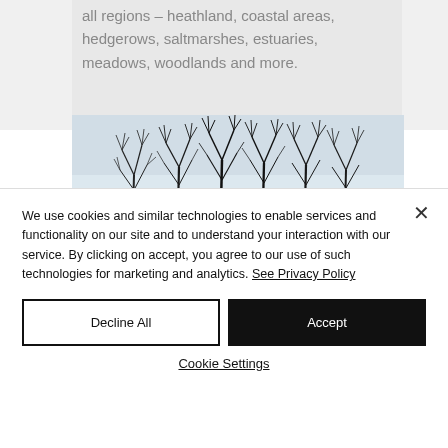all regions – heathland, coastal areas, hedgerows, saltmarshes, estuaries, meadows, woodlands and more.
[Figure (illustration): Watercolour illustration of bare winter trees with thin branching limbs against a light blue-grey sky, standing in purple heathland/moorland.]
We use cookies and similar technologies to enable services and functionality on our site and to understand your interaction with our service. By clicking on accept, you agree to our use of such technologies for marketing and analytics. See Privacy Policy
Decline All
Accept
Cookie Settings